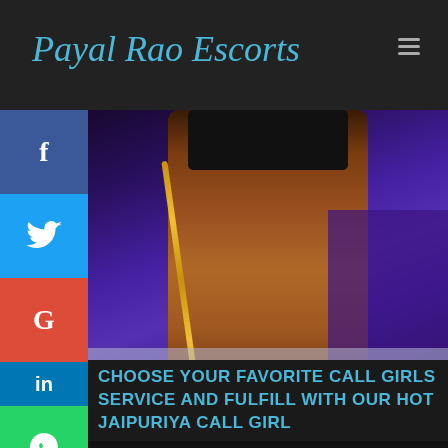Payal Rao Escorts
[Figure (photo): Woman in blue/purple saree with gold border, partial body view, watermark www.payalrao.in overlaid]
CHOOSE YOUR FAVORITE CALL GIRLS SERVICE AND FULFILL WITH OUR HOT JAIPURIYA CALL GIRL
Everyman has lots of imagination regarding to their sex